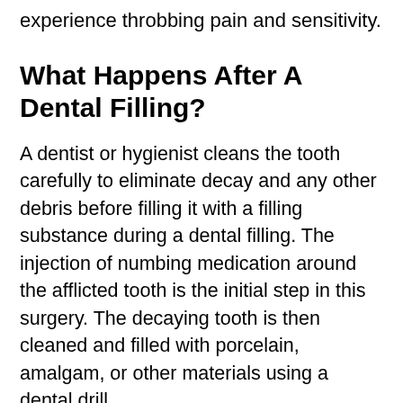experience throbbing pain and sensitivity.
What Happens After A Dental Filling?
A dentist or hygienist cleans the tooth carefully to eliminate decay and any other debris before filling it with a filling substance during a dental filling. The injection of numbing medication around the afflicted tooth is the initial step in this surgery. The decaying tooth is then cleaned and filled with porcelain, amalgam, or other materials using a dental drill.
You may have numbness, itching, or tingling in your